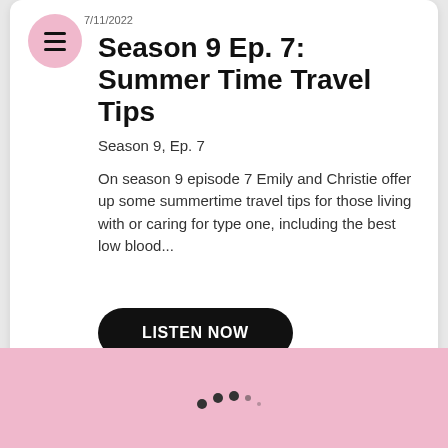7/11/2022
Season 9 Ep. 7: Summer Time Travel Tips
Season 9, Ep. 7
On season 9 episode 7 Emily and Christie offer up some summertime travel tips for those living with or caring for type one, including the best low blood...
LISTEN NOW
[Figure (illustration): Pink section with partial illustration of characters and a loading spinner with dots at bottom on pink background]